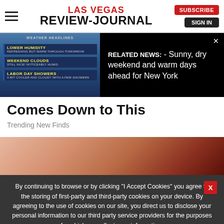Las Vegas Review-Journal — SUBSCRIBE | SIGN IN
[Figure (screenshot): Weather headlines panel showing Lower Humidity, Weekend Clouds, Labor Day Showers items on dark blue background with cloud imagery]
RELATED NEWS: - Sunny, dry weekend and warm days ahead for New York
Comes Down to This
Trending New Finds
[Figure (photo): Close-up photo of skin texture]
By continuing to browse or by clicking “I Accept Cookies” you agree to the storing of first-party and third-party cookies on your device. By agreeing to the use of cookies on our site, you direct us to disclose your personal information to our third party service providers for the purposes for which we collect your information.
I Accept Cookies